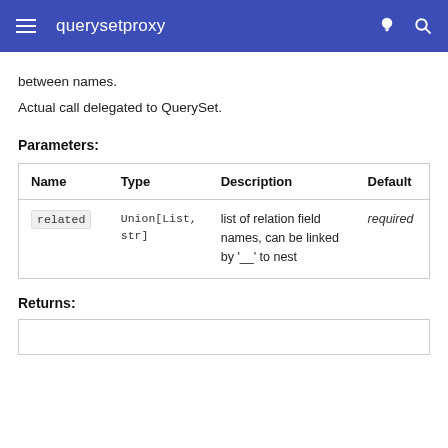querysetproxy
between names.
Actual call delegated to QuerySet.
Parameters:
| Name | Type | Description | Default |
| --- | --- | --- | --- |
| related | Union[List, str] | list of relation field names, can be linked by '__' to nest | required |
Returns: